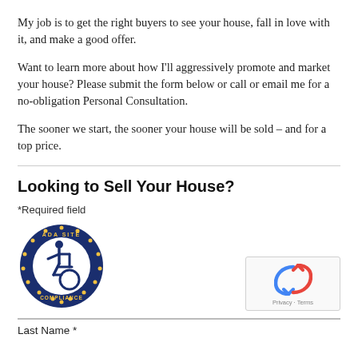My job is to get the right buyers to see your house, fall in love with it, and make a good offer.
Want to learn more about how I’ll aggressively promote and market your house? Please submit the form below or call or email me for a no-obligation Personal Consultation.
The sooner we start, the sooner your house will be sold – and for a top price.
Looking to Sell Your House?
*Required field
[Figure (logo): ADA Site Compliance badge with wheelchair accessibility icon in a circular seal design with gold and blue colors]
Last Name *